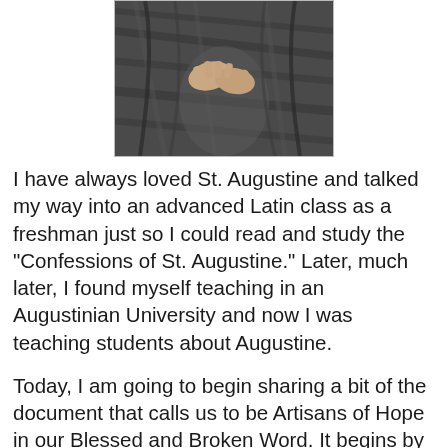[Figure (photo): Partial photo of a person wearing a dark fur or heavy textured cloak/garment, hands visible at chest level holding the garment closed. Image is cropped showing only the torso and hands area.]
I have always loved St. Augustine and talked my way into an advanced Latin class as a freshman just so I could read and study the "Confessions of St. Augustine." Later, much later, I found myself teaching in an Augustinian University and now I was teaching students about Augustine.
Today, I am going to begin sharing a bit of the document that calls us to be Artisans of Hope in our Blessed and Broken Word. It begins by telling us that the Society of the Sacred Heart gathered global leaders from the 41 countries where we serve - these leaders hold responsibility for the work of JPIC (Justice, Peace, and Integrity of Creation) for the provinces in which they served, as well as Religious of the